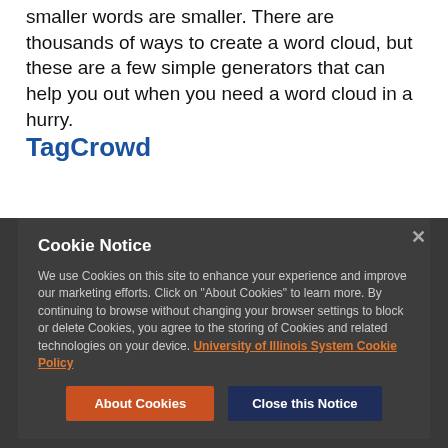the most frequently occurring words appear larger, and smaller words are smaller. There are thousands of ways to create a word cloud, but these are a few simple generators that can help you out when you need a word cloud in a hurry.
TagCrowd
Cookie Notice

We use Cookies on this site to enhance your experience and improve our marketing efforts. Click on "About Cookies" to learn more. By continuing to browse without changing your browser settings to block or delete Cookies, you agree to the storing of Cookies and related technologies on your device. University of Illinois System Cookie Policy
About Cookies  Close this Notice